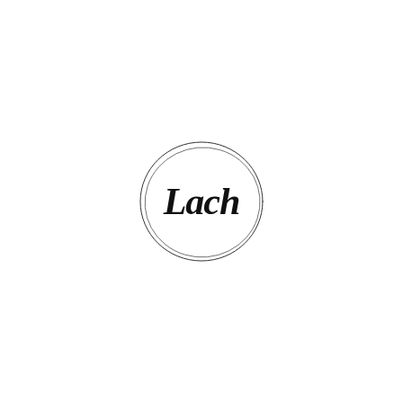[Figure (logo): A circular logo with two thin hand-drawn style concentric oval rings. Inside the circle, the word 'Lach' is written in a bold black cursive/script font.]